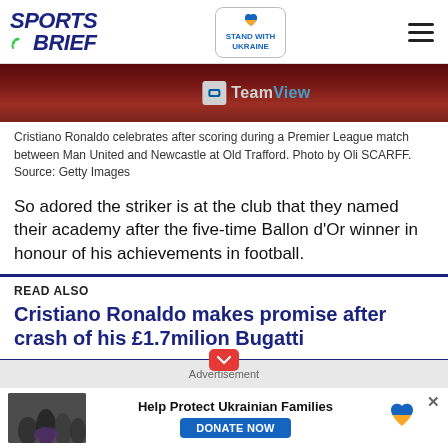SPORTS BRIEF | Stand With Ukraine
[Figure (photo): Cristiano Ronaldo in red Manchester United jersey with TeamViewer sponsorship visible]
Cristiano Ronaldo celebrates after scoring during a Premier League match between Man United and Newcastle at Old Trafford. Photo by Oli SCARFF. Source: Getty Images
So adored the striker is at the club that they named their academy after the five-time Ballon d'Or winner in honour of his achievements in football.
READ ALSO
Cristiano Ronaldo makes promise after crash of his £1.7milion Bugatti
[Figure (infographic): Advertisement banner: Help Protect Ukrainian Families with DONATE NOW button and Ukrainian flag heart icon]